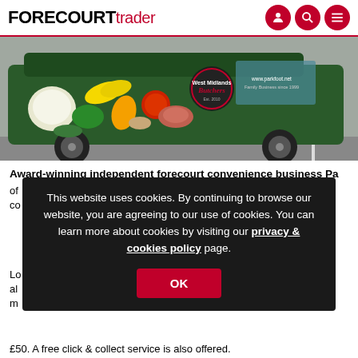FORECOURT trader
[Figure (photo): A green delivery van with food imagery wrapping (vegetables, meat, Butcher's branding) parked in a car park. Website www.parkfoot.net and text 'Family Business since 1999' visible on the van.]
Award-winning independent forecourt convenience business Pa[rk Foot]
This website uses cookies. By continuing to browse our website, you are agreeing to our use of cookies. You can learn more about cookies by visiting our privacy & cookies policy page.
£50. A free click & collect service is also offered.